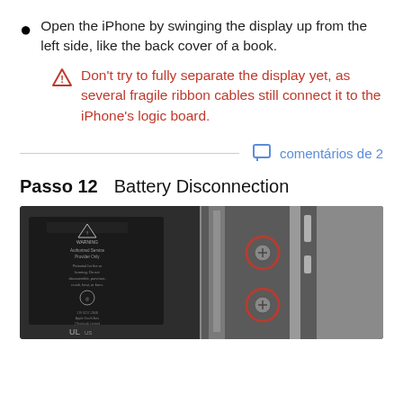Open the iPhone by swinging the display up from the left side, like the back cover of a book.
Don't try to fully separate the display yet, as several fragile ribbon cables still connect it to the iPhone's logic board.
comentários de 2
Passo 12    Battery Disconnection
[Figure (photo): Photo of iPhone internals showing battery with warning label and two screws highlighted with red circles near battery connector area]